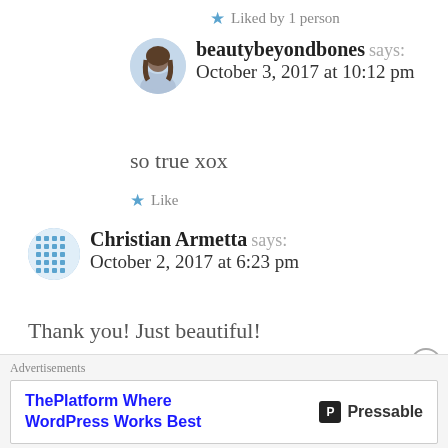Liked by 1 person
beautybeyondbones says: October 3, 2017 at 10:12 pm
so true xox
Like
Christian Armetta says: October 2, 2017 at 6:23 pm
Thank you! Just beautiful!
Liked by 1 person
Advertisements ThePlatform Where WordPress Works Best Pressable